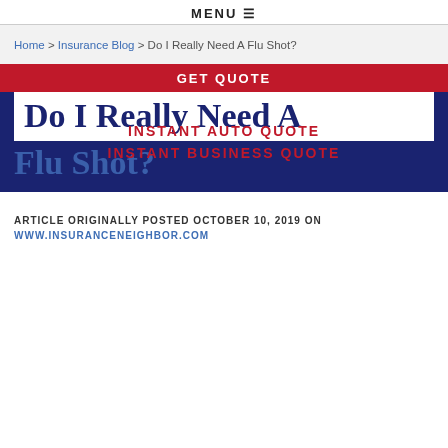MENU
Home > Insurance Blog > Do I Really Need A Flu Shot?
GET QUOTE
Do I Really Need A Flu Shot?
INSTANT AUTO QUOTE
INSTANT BUSINESS QUOTE
ARTICLE ORIGINALLY POSTED OCTOBER 10, 2019 ON
WWW.INSURANCENEIGHBOR.COM